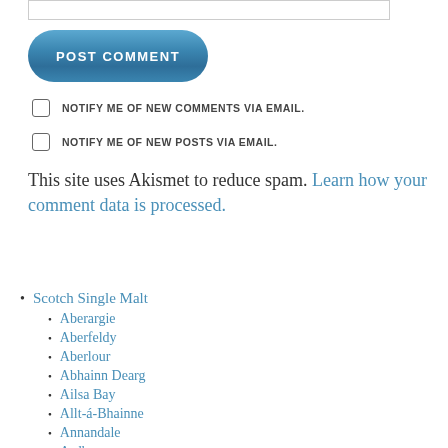[Figure (other): Input text box (form field)]
[Figure (other): POST COMMENT button, blue rounded rectangle]
NOTIFY ME OF NEW COMMENTS VIA EMAIL.
NOTIFY ME OF NEW POSTS VIA EMAIL.
This site uses Akismet to reduce spam. Learn how your comment data is processed.
Scotch Single Malt
Aberargie
Aberfeldy
Aberlour
Abhainn Dearg
Ailsa Bay
Allt-á-Bhainne
Annandale
Ardbeg
Ardmore
Ardnahoe